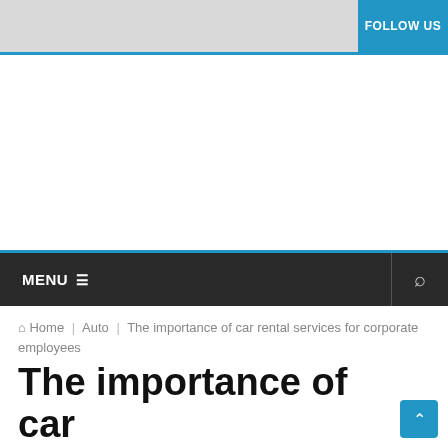FOLLOW US
MENU
Home | Auto | The importance of car rental services for corporate employees
The importance of car rental services for